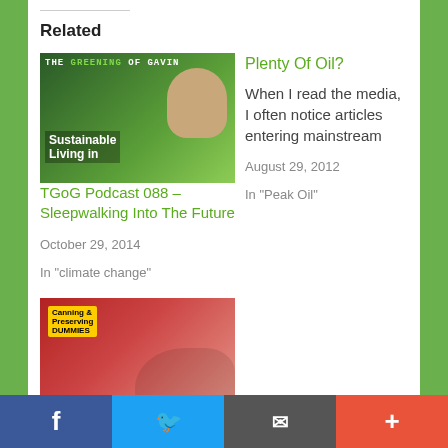Related
[Figure (photo): Thumbnail for TGoG Podcast 088 - Sleepwalking Into The Future]
TGoG Podcast 088 – Sleepwalking Into The Future
October 29, 2014
In "climate change"
Plenty Of Oil?
When I read the media, I often notice articles entering mainstream
August 29, 2012
In "Peak Oil"
[Figure (photo): Thumbnail for The Top 11 Books That Changed My World View - man reading Dummies book]
The Top 11 Books That Changed My World View
May 15, 2014
In "Books"